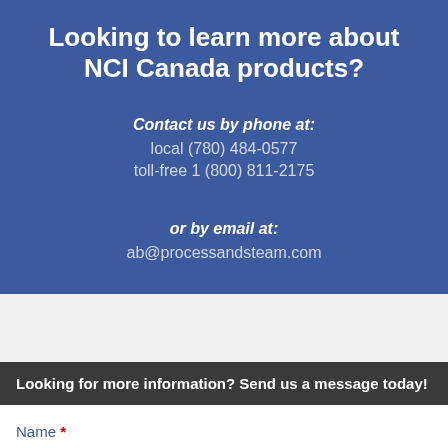Looking to learn more about NCI Canada products?
Contact us by phone at:
local (780) 484-0577
toll-free 1 (800) 811-2175
or by email at:
ab@processandsteam.com
Looking for more information? Send us a message today!
Name *